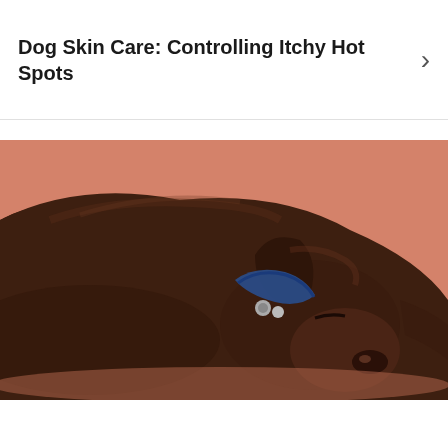Dog Skin Care: Controlling Itchy Hot Spots
[Figure (photo): A dark brown Labrador or similar breed dog lying flat on its side on a salmon/terracotta-colored background, wearing a blue collar, with its head down and eyes closed, appearing relaxed or asleep.]